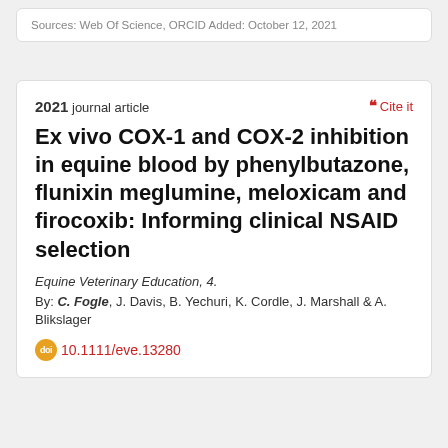Sources: Web Of Science, ORCID Added: October 12, 2021
2021 journal article
Cite it
Ex vivo COX-1 and COX-2 inhibition in equine blood by phenylbutazone, flunixin meglumine, meloxicam and firocoxib: Informing clinical NSAID selection
Equine Veterinary Education, 4.
By: C. Fogle, J. Davis, B. Yechuri, K. Cordle, J. Marshall & A. Blikslager
10.1111/eve.13280